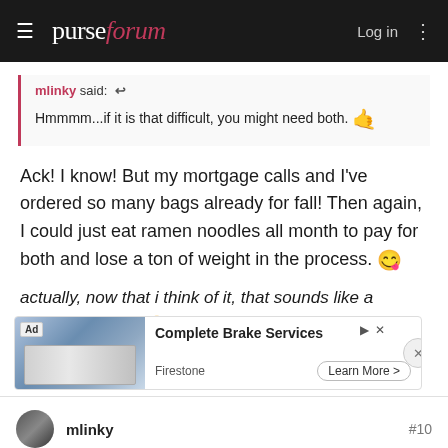purseforum — Log in
mlinky said: ↩
Hmmmm...if it is that difficult, you might need both. 🤙
Ack! I know! But my mortgage calls and I've ordered so many bags already for fall! Then again, I could just eat ramen noodles all month to pay for both and lose a ton of weight in the process. 😋
actually, now that i think of it, that sounds like a fabulous idea... 😊
[Figure (screenshot): Advertisement banner for Firestone Complete Brake Services with Learn More button]
mlinky #10